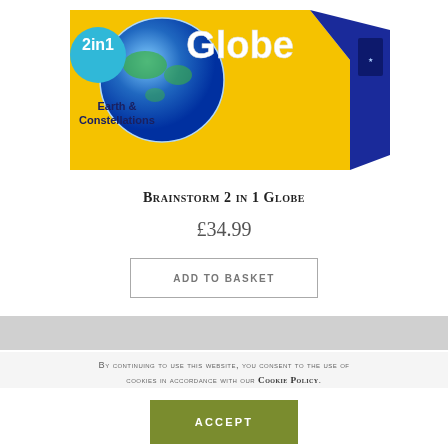[Figure (photo): Product box image of Brainstorm 2 in 1 Globe - Earth & Constellations, showing a globe on a yellow and blue box packaging]
Brainstorm 2 in 1 Globe
£34.99
Add to basket
By continuing to use this website, you consent to the use of cookies in accordance with our Cookie Policy.
Accept